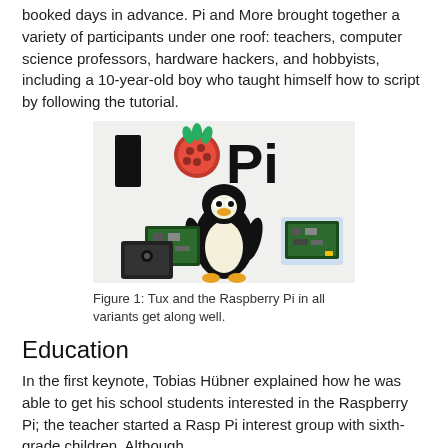booked days in advance. Pi and More brought together a variety of participants under one roof: teachers, computer science professors, hardware hackers, and hobbyists, including a 10-year-old boy who taught himself how to script by following the tutorial.
[Figure (photo): Photo of a Tux (Linux penguin stuffed animal) holding Raspberry Pi boards in front of an 'I [Raspberry] Pi' banner/t-shirt background.]
Figure 1: Tux and the Raspberry Pi in all variants get along well.
Education
In the first keynote, Tobias Hübner explained how he was able to get his school students interested in the Raspberry Pi; the teacher started a Rasp Pi interest group with sixth-grade children. Although